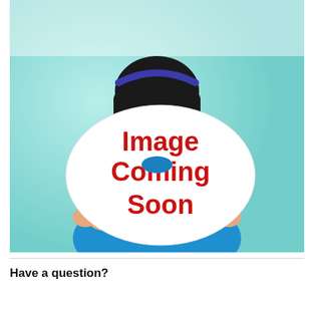[Figure (photo): A smiling young girl with long dark hair wearing a blue t-shirt, holding a large white oval sign that reads 'Image Coming Soon' in bold red text. The background is a teal/light blue gradient.]
Have a question?